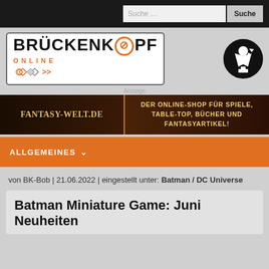Suche … Suche
[Figure (logo): Brückenkopf Online logo with miniature figure icon]
Anzeige
[Figure (infographic): Fantasy-Welt.de banner: Der Online-Shop für Spiele, Table-Top, Bücher und Fantasyartikel!]
ALLGEMEINES
von BK-Bob | 21.06.2022 | eingestellt unter: Batman / DC Universe
Batman Miniature Game: Juni Neuheiten